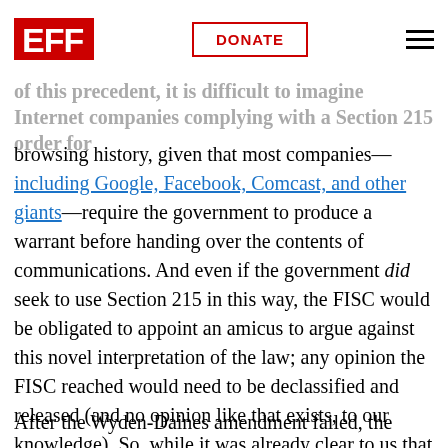EFF | DONATE
of this precedent, it is difficult to imagine Internet companies complying with a Section 215 order for browsing history, given that most companies—including Google, Facebook, Comcast, and other giants—require the government to produce a warrant before handing over the contents of communications. And even if the government did seek to use Section 215 in this way, the FISC would be obligated to appoint an amicus to argue against this novel interpretation of the law; any opinion the FISC reached would need to be declassified and released (and no opinion like that exists, to our knowledge). So, while it was already clear to us that Section 215 could never allow the government to collect such information, the Wyden-Daines amendment would have made this crystal clear.
After the Wyden-Daines amendment failed, the